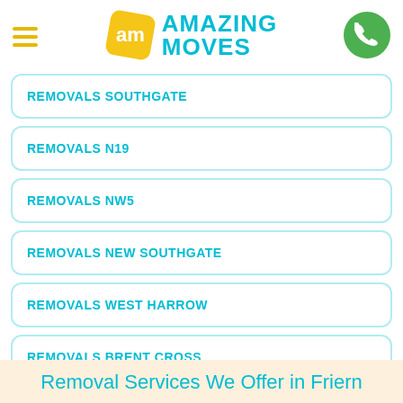[Figure (logo): Amazing Moves logo with diamond-shaped 'am' badge and teal AMAZING MOVES text, hamburger menu icon in gold, green phone button]
REMOVALS SOUTHGATE
REMOVALS N19
REMOVALS NW5
REMOVALS NEW SOUTHGATE
REMOVALS WEST HARROW
REMOVALS BRENT CROSS
Removal Services We Offer in Friern